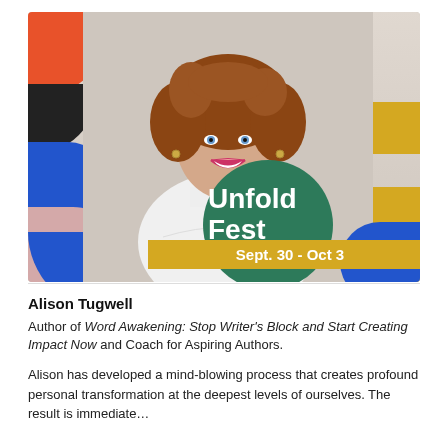[Figure (photo): Photo of Alison Tugwell smiling, wearing a white turtleneck, arms crossed, with colorful geometric shapes (orange, black, blue, pink, yellow) overlaid, and 'Unfold Fest Sept. 30 - Oct 3' text on a green circle and yellow rectangle.]
Alison Tugwell
Author of Word Awakening: Stop Writer's Block and Start Creating Impact Now and Coach for Aspiring Authors.
Alison has developed a mind-blowing process that creates profound personal transformation at the deepest levels of ourselves. The result is immediate…